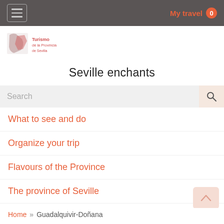My travel 0
[Figure (logo): Tourism province of Seville logo with stylized red graphic and text in red/pink]
Seville enchants
Search
What to see and do
Organize your trip
Flavours of the Province
The province of Seville
Home » Guadalquivir-Doñana